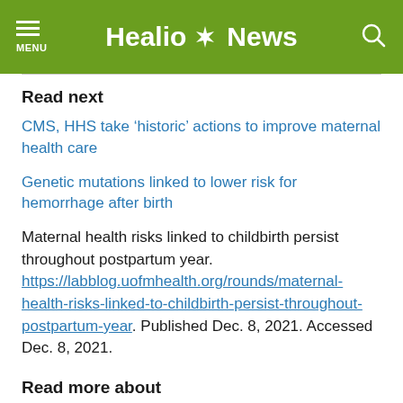Healio News
Read next
CMS, HHS take ‘historic’ actions to improve maternal health care
Genetic mutations linked to lower risk for hemorrhage after birth
Maternal health risks linked to childbirth persist throughout postpartum year. https://labblog.uofmhealth.org/rounds/maternal-health-risks-linked-to-childbirth-persist-throughout-postpartum-year. Published Dec. 8, 2021. Accessed Dec. 8, 2021.
Read more about